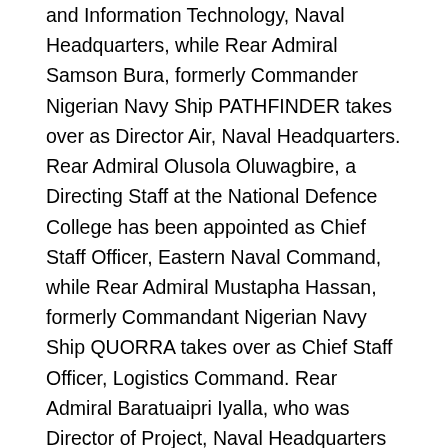and Information Technology, Naval Headquarters, while Rear Admiral Samson Bura, formerly Commander Nigerian Navy Ship PATHFINDER takes over as Director Air, Naval Headquarters. Rear Admiral Olusola Oluwagbire, a Directing Staff at the National Defence College has been appointed as Chief Staff Officer, Eastern Naval Command, while Rear Admiral Mustapha Hassan, formerly Commandant Nigerian Navy Ship QUORRA takes over as Chief Staff Officer, Logistics Command. Rear Admiral Baratuaipri Iyalla, who was Director of Project, Naval Headquarters is now the new Managing Director, Naval Engineering Services Limited, while Rear Admiral Kohath Levi has been reappointed Admiral Superintendent Naval Dockyard Limited. Rear Admiral Patrick Nwatu, formerly Principal Staff Officer to Chief of the Naval Staff is now appointed Deputy Commandant, Armed Forces Command and Staff College, Jaji, while Rear Admiral Habila Zakaria is now the new Chief Staff Officer Western Naval Command. Rear Admiral Joseph